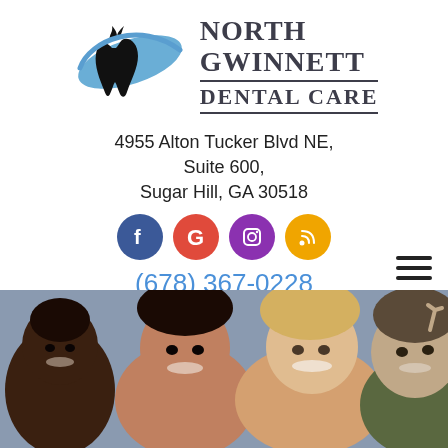[Figure (logo): North Gwinnett Dental Care logo with tooth graphic and text]
4955 Alton Tucker Blvd NE, Suite 600, Sugar Hill, GA 30518
[Figure (other): Social media icons: Facebook (blue), Google (red), Instagram (purple), RSS (gold)]
(678) 367-0228
[Figure (photo): Group of smiling young people taking a selfie]